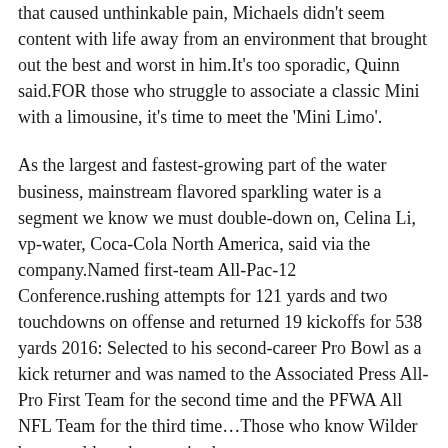that caused unthinkable pain, Michaels didn't seem content with life away from an environment that brought out the best and worst in him.It's too sporadic, Quinn said.FOR those who struggle to associate a classic Mini with a limousine, it's time to meet the 'Mini Limo'.
As the largest and fastest-growing part of the water business, mainstream flavored sparkling water is a segment we know we must double-down on, Celina Li, vp-water, Coca-Cola North America, said via the company.Named first-team All-Pac-12 Conference.rushing attempts for 121 yards and two touchdowns on offense and returned 19 kickoffs for 538 yards 2016: Selected to his second-career Pro Bowl as a kick returner and was named to the Associated Press All-Pro First Team for the second time and the PFWA All NFL Team for the third time…Those who know Wilder best would not be surprised.
Kevin Negandhi and David Pollack look back on Week 8, discussing how Wisconsin got caught looking ahead to its